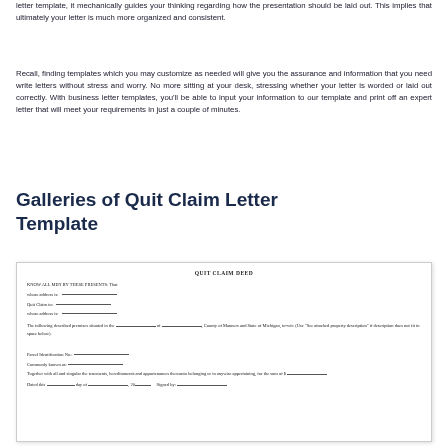letter template, it mechanically guides your thinking regarding how the presentation should be laid out. This implies that ultimately your letter is much more organized and consistent.
Recall, finding templates which you may customize as needed will give you the assurance and information that you need write letters without stress and worry. No more sitting at your desk, stressing whether your letter is worded or laid out correctly. With business letter templates, you'll be able to input your information to our template and print off an expert letter that will meet your requirements in just a couple of minutes.
Galleries of Quit Claim Letter Template
[Figure (illustration): A preview/thumbnail of a Quit Claim Deed legal document template showing fields for property description, parcel identification, signatures, and standard legal boilerplate text.]